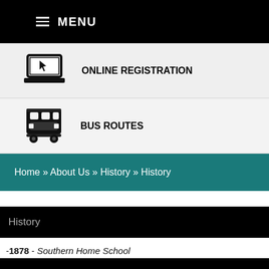≡ MENU
ONLINE REGISTRATION
BUS ROUTES
Home » About Us » History » History
History
-1878 - Southern Home School
Location: Corner of Greenville and McDuffie Streets.
Specs: A one-room school for white students.